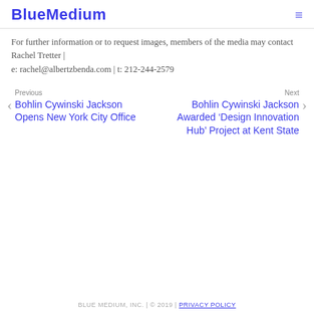BlueMedium
For further information or to request images, members of the media may contact Rachel Tretter | e: rachel@albertzbenda.com | t: 212-244-2579
Previous
Bohlin Cywinski Jackson Opens New York City Office
Next
Bohlin Cywinski Jackson Awarded ‘Design Innovation Hub’ Project at Kent State
BLUE MEDIUM, INC. | © 2019 | PRIVACY POLICY